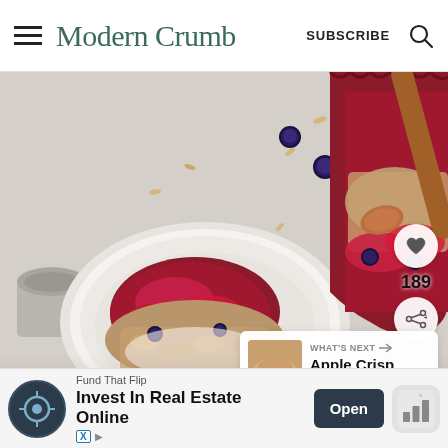Modern Crumb  SUBSCRIBE
[Figure (photo): Overhead flat-lay food photo of a berry crisp dessert. A white plate holds a serving of berry crisp with oat topping and red berry sauce. Loose blueberries and oats are scattered on a light gray surface. A baking dish with more crisp and a wooden spoon appears in the top right corner. A small gray cup is visible on the left edge.]
189
WHAT'S NEXT → Apple Crisp With Oats...
Fund That Flip
Invest In Real Estate Online